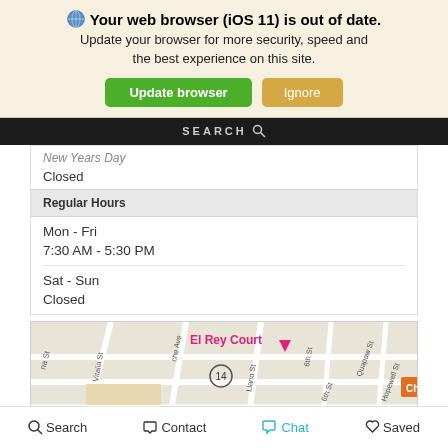🌐 Your web browser (iOS 11) is out of date. Update your browser for more security, speed and the best experience on this site.
[Figure (screenshot): Green 'Update browser' button and tan 'Ignore' button]
[Figure (screenshot): Black search bar with SEARCH text and magnifying glass icon]
New Years Day
Closed
Regular Hours
Mon - Fri
7:30 AM - 5:30 PM
Sat - Sun
Closed
[Figure (map): Street map showing El Rey Court location with surrounding streets including Vitalia St, Che Ave, Llano St, 6th St, Quapaw St, Hopewell St, and marker for Rowley Farmhouse Ales]
Search  Contact  Chat  Saved